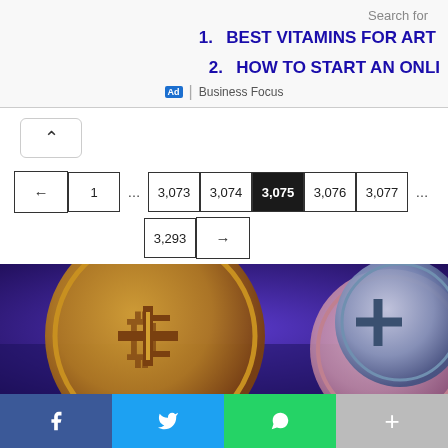Search for
1. BEST VITAMINS FOR AR...
2. HOW TO START AN ONLI...
Ad | Business Focus
← 1 … 3,073 3,074 3,075 3,076 3,077 … 3,293 →
[Figure (photo): Cryptocurrency coins (Bitcoin and others) on a blue-purple background]
f  (bird icon)  (WhatsApp icon)  +